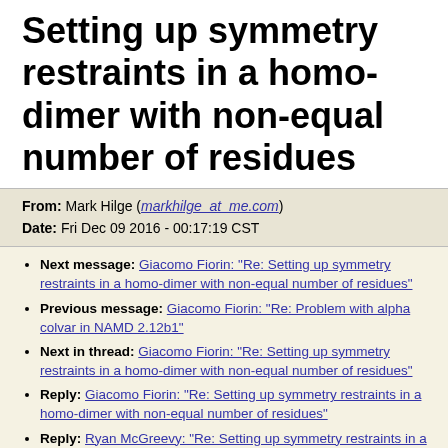Setting up symmetry restraints in a homo-dimer with non-equal number of residues
From: Mark Hilge (markhilge_at_me.com)
Date: Fri Dec 09 2016 - 00:17:19 CST
Next message: Giacomo Fiorin: "Re: Setting up symmetry restraints in a homo-dimer with non-equal number of residues"
Previous message: Giacomo Fiorin: "Re: Problem with alpha colvar in NAMD 2.12b1"
Next in thread: Giacomo Fiorin: "Re: Setting up symmetry restraints in a homo-dimer with non-equal number of residues"
Reply: Giacomo Fiorin: "Re: Setting up symmetry restraints in a homo-dimer with non-equal number of residues"
Reply: Ryan McGreevy: "Re: Setting up symmetry restraints in a homo-dimer with non-equal number of residues"
Messages sorted by: [ date ] [ thread ] [ subject ] [ author ]